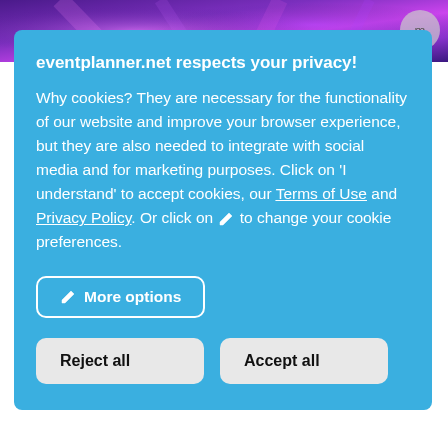[Figure (photo): Purple and magenta lit event venue ceiling/stage photo visible at the top of the page behind the cookie consent overlay]
eventplanner.net respects your privacy!
Why cookies? They are necessary for the functionality of our website and improve your browser experience, but they are also needed to integrate with social media and for marketing purposes. Click on 'I understand' to accept cookies, our Terms of Use and Privacy Policy. Or click on ✏ to change your cookie preferences.
More options
Reject all
Accept all
Zilvermeer' in the Antwerp municipality of Mol. In our two atmospheric banquet halls, we organize intimate dinners as well as large weddings or corporate parties.